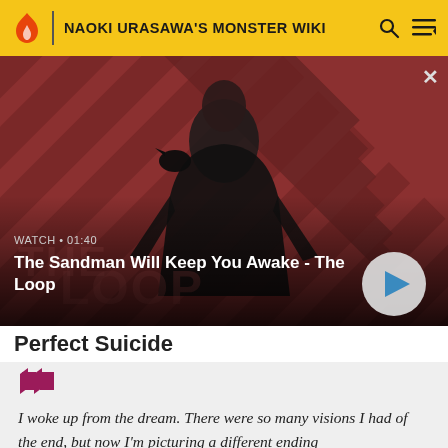NAOKI URASAWA'S MONSTER WIKI
[Figure (screenshot): Video thumbnail showing a man in black with a crow on his shoulder against a red diagonal striped background. Text overlay: WATCH • 01:40, The Sandman Will Keep You Awake - The Loop. Play button visible.]
Perfect Suicide
I woke up from the dream. There were so many visions I had of the end, but now I'm picturing a different ending than the one I've been told of for the longest time.